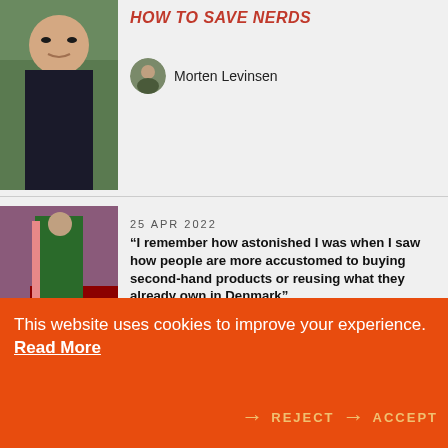how to save nerds
Morten Levinsen
25 APR 2022
“I remember how astonished I was when I saw how people are more accustomed to buying second-hand products or reusing what they already own in Denmark”
Zeynep Calisir
This website uses cookies to improve your experience. Read More → REJECT → ACCEPT